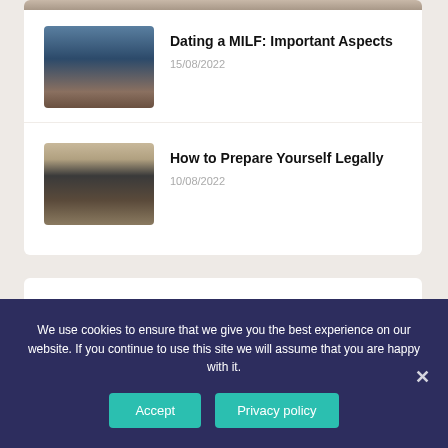[Figure (photo): Beach/ocean scene with silhouetted couple at dusk]
Dating a MILF: Important Aspects
15/08/2022
[Figure (photo): Man in suit sitting at desk with tablet/book]
How to Prepare Yourself Legally
10/08/2022
We use cookies to ensure that we give you the best experience on our website. If you continue to use this site we will assume that you are happy with it.
Accept
Privacy policy